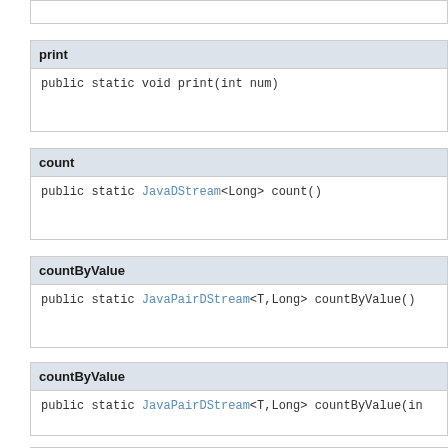print
public static void print(int num)
count
public static JavaDStream<Long> count()
countByValue
public static JavaPairDStream<T,Long> countByValue()
countByValue
public static JavaPairDStream<T,Long> countByValue(in
countByWindow